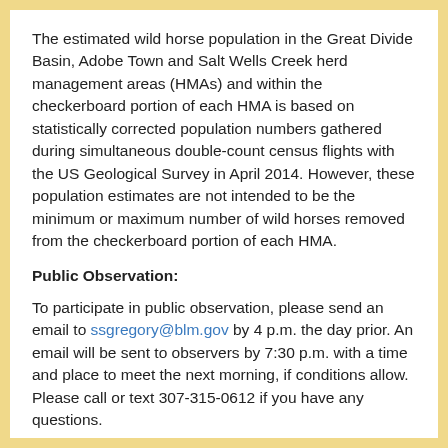The estimated wild horse population in the Great Divide Basin, Adobe Town and Salt Wells Creek herd management areas (HMAs) and within the checkerboard portion of each HMA is based on statistically corrected population numbers gathered during simultaneous double-count census flights with the US Geological Survey in April 2014. However, these population estimates are not intended to be the minimum or maximum number of wild horses removed from the checkerboard portion of each HMA.
Public Observation:
To participate in public observation, please send an email to ssgregory@blm.gov by 4 p.m. the day prior. An email will be sent to observers by 7:30 p.m. with a time and place to meet the next morning, if conditions allow. Please call or text 307-315-0612 if you have any questions.